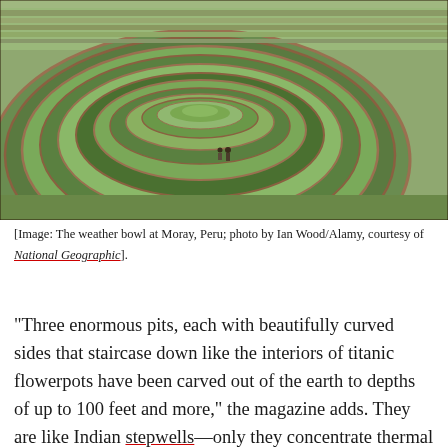[Figure (photo): Aerial view of the circular terraced agricultural site at Moray, Peru, showing large concentric green terraced rings carved into the earth, with two small human figures visible near the center.]
[Image: The weather bowl at Moray, Peru; photo by Ian Wood/Alamy, courtesy of National Geographic].
“Three enormous pits, each with beautifully curved sides that staircase down like the interiors of titanic flowerpots have been carved out of the earth to depths of up to 100 feet and more,” the magazine adds. They are like Indian stepwells—only they concentrate thermal gradients—and this affects the local weather: “Air